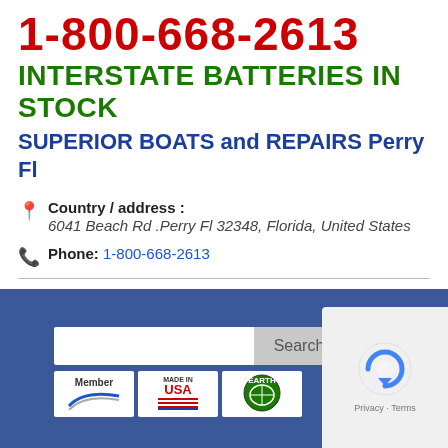1-800-668-2613
INTERSTATE BATTERIES IN STOCK
SUPERIOR BOATS and REPAIRS Perry Fl
Country / address : 6041 Beach Rd .Perry Fl 32348, Florida, United States
Phone: 1-800-668-2613
[Figure (screenshot): Website footer with blue background, search bar, member logos (Made in USA, Earth logo), and reCAPTCHA widget]